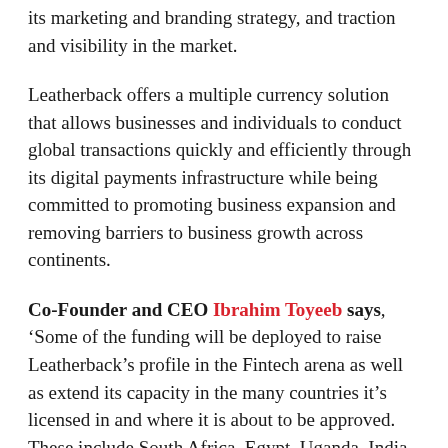its marketing and branding strategy, and traction and visibility in the market.
Leatherback offers a multiple currency solution that allows businesses and individuals to conduct global transactions quickly and efficiently through its digital payments infrastructure while being committed to promoting business expansion and removing barriers to business growth across continents.
Co-Founder and CEO Ibrahim Toyeeb says, ‘Some of the funding will be deployed to raise Leatherback’s profile in the Fintech arena as well as extend its capacity in the many countries it’s licensed in and where it is about to be approved. These include South Africa, Egypt, Uganda, India, and the UAE.”